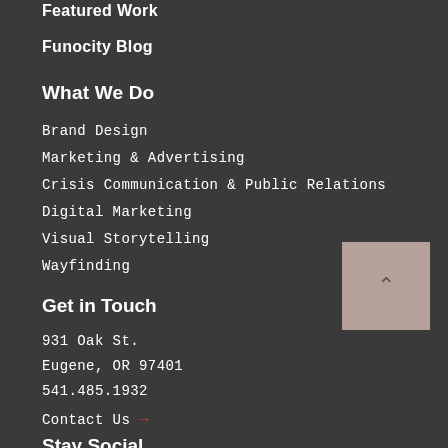Featured Work
Funocity Blog
What We Do
Brand Design
Marketing & Advertising
Crisis Communication & Public Relations
Digital Marketing
Visual Storytelling
Wayfinding
Get in Touch
931 Oak St.
Eugene, OR 97401
541.485.1932
Contact Us →
Stay Social